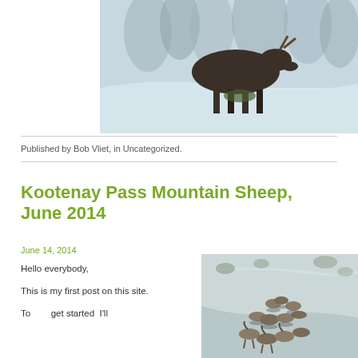[Figure (photo): A dark-colored animal (moose or similar) standing in snow among trees, aerial/side view]
Published by Bob Vliet, in Uncategorized.
Kootenay Pass Mountain Sheep, June 2014
June 14, 2014
Hello everybody,

This is my first post on this site.

To get started I'll
[Figure (photo): Aerial view of a herd of mountain sheep running through snow]